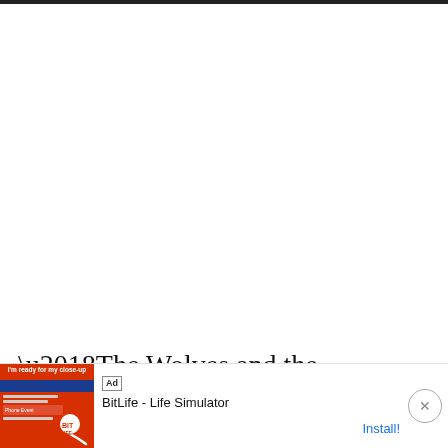[Figure (screenshot): White empty space area at top of a webpage]
‘The Wolves and the Ravens’ is one of
two ... the
[Figure (screenshot): Ad banner overlay showing BitLife - Life Simulator advertisement with Install button and close X button]